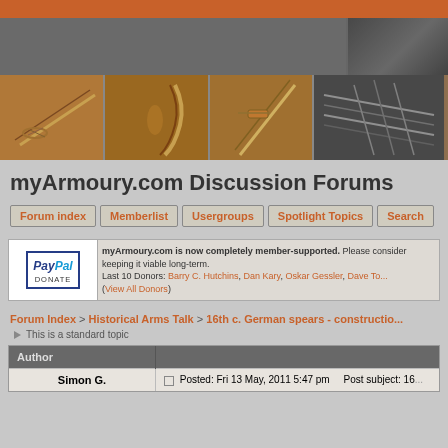[Figure (screenshot): myArmoury.com website header with orange bar and sword/weapon images]
myArmoury.com Discussion Forums
Forum index
Memberlist
Usergroups
Spotlight Topics
Search
myArmoury.com is now completely member-supported. Please consider keeping it viable long-term. Last 10 Donors: Barry C. Hutchins, Dan Kary, Oskar Gessler, Dave To... (View All Donors)
Forum Index > Historical Arms Talk > 16th c. German spears - constructio...
This is a standard topic
| Author |  |
| --- | --- |
| Simon G. | Posted: Fri 13 May, 2011 5:47 pm   Post subject: 16... |